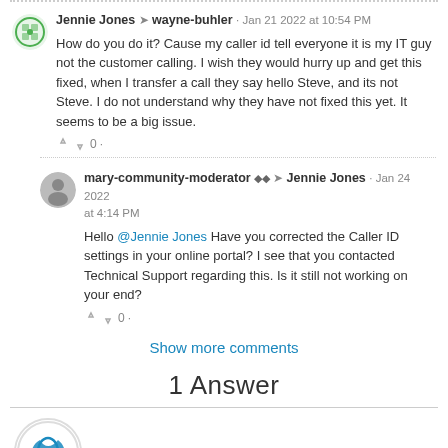Jennie Jones → wayne-buhler · Jan 21 2022 at 10:54 PM
How do you do it? Cause my caller id tell everyone it is my IT guy not the customer calling. I wish they would hurry up and get this fixed, when I transfer a call they say hello Steve, and its not Steve. I do not understand why they have not fixed this yet. It seems to be a big issue.
mary-community-moderator ◆◆ → Jennie Jones · Jan 24 2022 at 4:14 PM
Hello @Jennie Jones Have you corrected the Caller ID settings in your online portal? I see that you contacted Technical Support regarding this. Is it still not working on your end?
Show more comments
1 Answer
J.B. Ferguson answered • Jul 30 2020 at 2:40 AM | Jennie Jones